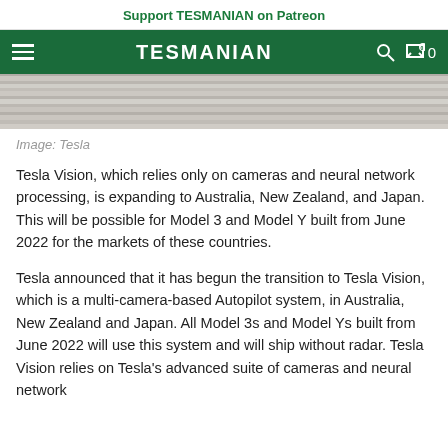Support TESMANIAN on Patreon
TESMANIAN
[Figure (photo): Partial image of a wood-grain surface, cropped at the top of the article]
Image: Tesla
Tesla Vision, which relies only on cameras and neural network processing, is expanding to Australia, New Zealand, and Japan. This will be possible for Model 3 and Model Y built from June 2022 for the markets of these countries.
Tesla announced that it has begun the transition to Tesla Vision, which is a multi-camera-based Autopilot system, in Australia, New Zealand and Japan. All Model 3s and Model Ys built from June 2022 will use this system and will ship without radar. Tesla Vision relies on Tesla's advanced suite of cameras and neural network